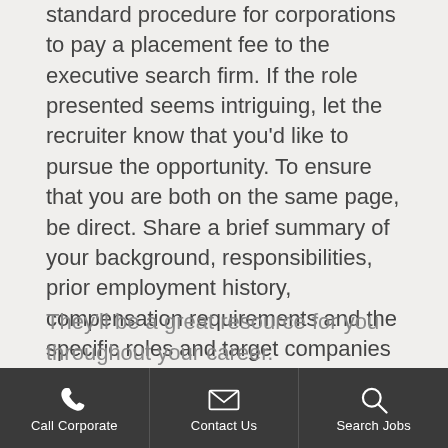standard procedure for corporations to pay a placement fee to the executive search firm. If the role presented seems intriguing, let the recruiter know that you'd like to pursue the opportunity. To ensure that you are both on the same page, be direct. Share a brief summary of your background, responsibilities, prior employment history, compensation requirements and the specific roles and target companies you desire.
Since the communication wasn't planned, you may have a legitimate commitment and can't engage right now. Be honest with the person. Let them know that you have a meeting, but would like to continue the conversation (via email, text, video or phone call). If you find a couple of good recruiters, keep in touch with them.
They'll be a great resource for you throughout your career.
Call Corporate | Contact Us | Search Jobs